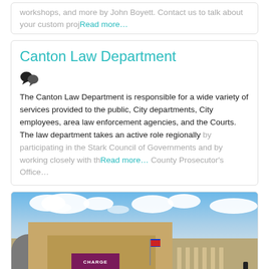workshops, and more by John Boyett. Contact us to talk about your custom proj… Read more…
Canton Law Department
The Canton Law Department is responsible for a wide variety of services provided to the public, City departments, City employees, area law enforcement agencies, and the Courts. The law department takes an active role regionally by participating in the Stark Council of Governments and by working closely with th… Read more… County Prosecutor's Office…
[Figure (photo): Photo of Canton Memorial Civic Center building with blue sky and clouds in the background. A multi-story brick building with columns is visible, along with signage and an American flag.]